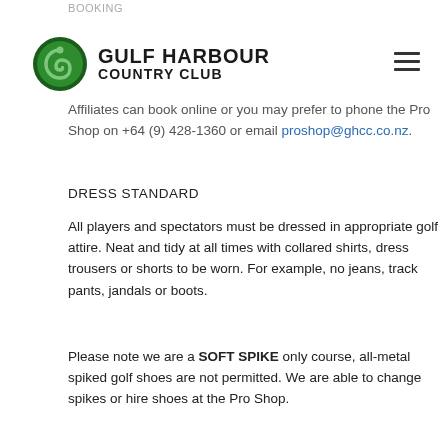BOOKING
Affiliates can book online or you may prefer to phone the Pro Shop on +64 (9) 428-1360 or email proshop@ghcc.co.nz.
DRESS STANDARD
All players and spectators must be dressed in appropriate golf attire. Neat and tidy at all times with collared shirts, dress trousers or shorts to be worn. For example, no jeans, track pants, jandals or boots.
Please note we are a SOFT SPIKE only course, all-metal spiked golf shoes are not permitted. We are able to change spikes or hire shoes at the Pro Shop.
CANCELLATIONS
Please Note: All cancellations will incur a 10% administration fee for refunds. If golfers do not give more than 48 hours